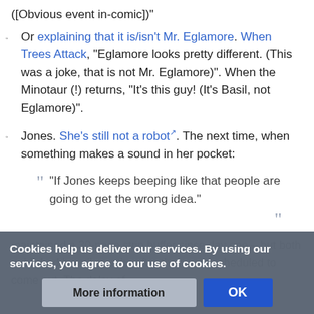([Obvious event in-comic])"
Or explaining that it is/isn't Mr. Eglamore. When Trees Attack, "Eglamore looks pretty different. (This was a joke, that is not Mr. Eglamore)". When the Minotaur (!) returns, "It's this guy! (It's Basil, not Eglamore)".
Jones. She's still not a robot. The next time, when something makes a sound in her pocket:
“If Jones keeps beeping like that people are going to get the wrong idea.”
maintained a 30-page strip buffer since day one – but both published until months after they were scheduled to come out. The delay of
Cookies help us deliver our services. By using our services, you agree to our use of cookies.